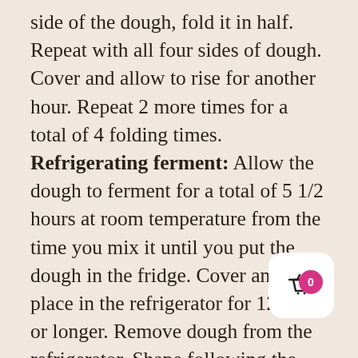side of the dough, fold it in half. Repeat with all four sides of dough. Cover and allow to rise for another hour. Repeat 2 more times for a total of 4 folding times. Refrigerating ferment: Allow the dough to ferment for a total of 5 1/2 hours at room temperature from the time you mix it until you put the dough in the fridge. Cover and place in the refrigerator for 12 hours or longer. Remove dough from the refrigerator. Shape following the directions below. Room temperature ferment: Allow the dough to ferment at room temperature for a total of 7 hours from the time you mix it until you shape it to be baked. Shaping. Preheat oven to 425 degrees. I place my clay b[aker] in the oven. The lid and the base on the oven ra[ck] to preheat. Press the dough out in a large
[Figure (other): Shopping basket button icon with a pink badge showing '0']